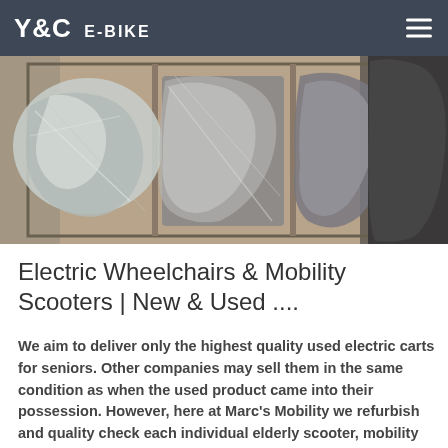Y&C E-BIKE
[Figure (photo): Packaged items wrapped in plastic/foil inside a cardboard box, likely electric mobility devices being shipped]
Electric Wheelchairs & Mobility Scooters | New & Used ....
We aim to deliver only the highest quality used electric carts for seniors. Other companies may sell them in the same condition as when the used product came into their possession. However, here at Marc's Mobility we refurbish and quality check each individual elderly scooter, mobility cart or scooter chair.